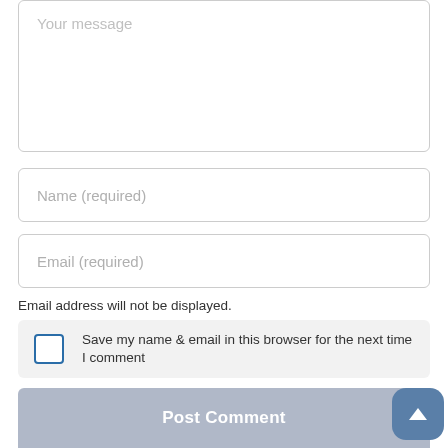[Figure (screenshot): A textarea form field with light gray placeholder text 'Your message']
[Figure (screenshot): A text input field with placeholder 'Name (required)']
[Figure (screenshot): A text input field with placeholder 'Email (required)']
Email address will not be displayed.
Save my name & email in this browser for the next time I comment
Post Comment